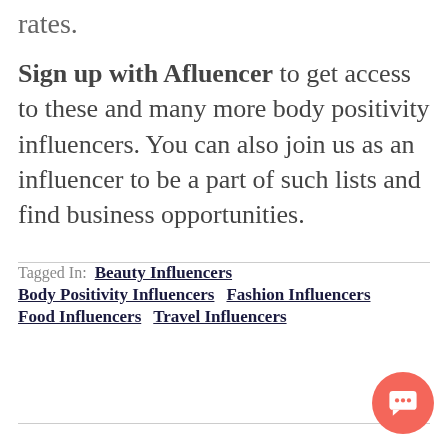rates.
Sign up with Afluencer to get access to these and many more body positivity influencers. You can also join us as an influencer to be a part of such lists and find business opportunities.
Tagged In:  Beauty Influencers  Body Positivity Influencers  Fashion Influencers  Food Influencers  Travel Influencers
[Figure (other): Round coral/red chat button with white speech bubble icon in bottom right corner]